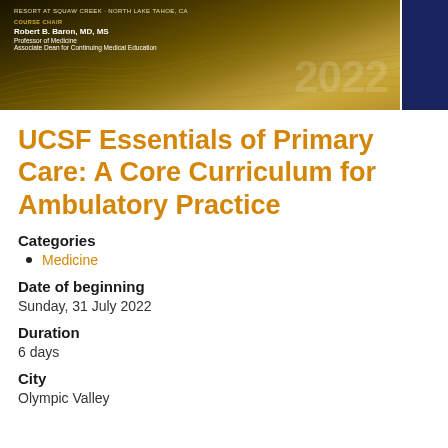[Figure (photo): Header banner image for UCSF Essentials of Primary Care 2022 course. Golden/brown terrain texture background with course chair information: Robert B. Baron, MD, MS, Professor of Medicine, Associate Dean for Continuing Medical Education. Year 2022 displayed in large semi-transparent text. Dark blue vertical bar on right side.]
UCSF Essentials of Primary Care: A Core Curriculum for Ambulatory Practice
Categories
Medicine
Date of beginning
Sunday, 31 July 2022
Duration
6 days
City
Olympic Valley